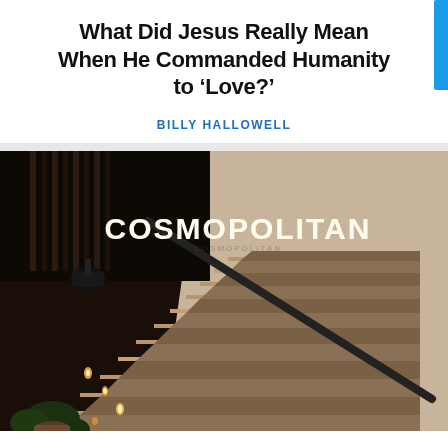What Did Jesus Really Mean When He Commanded Humanity to ‘Love?’
BILLY HALLOWELL
[Figure (photo): Night photograph of illuminated outdoor staircase with candles on each step, a dark metal railing, and the word COSMOPOLITAN lit in glowing white letters on a beige wall to the right.]